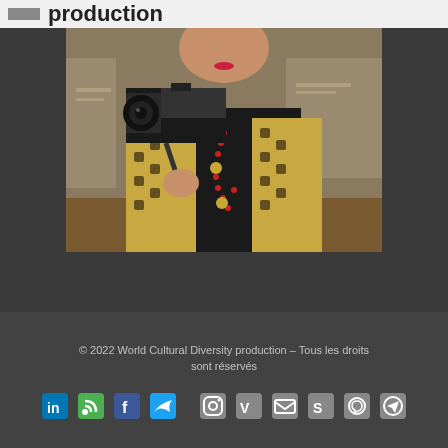production
[Figure (photo): Woman holding a professional video camera, wearing a black turtleneck and patterned vest with red and yellow bead necklace, in an indoor setting]
© 2022 World Cultural Diversity production – Tous les droits sont réservés
[Figure (infographic): Row of social media icons: LinkedIn, RSS, Facebook, Twitter, Instagram, Vimeo, Email, Skype, WhatsApp, Telegram]